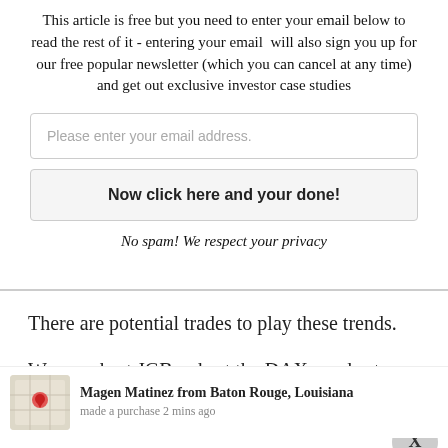This article is free but you need to enter your email below to read the rest of it - entering your email will also sign you up for our free popular newsletter (which you can cancel at any time) and get out exclusive investor case studies
Please enter your email address.
Now click here and your done!
No spam! We respect your privacy
There are potential trades to play these trends.
We can short JGBs, short the DAX, or short
EURUSD. DAX and EURUSD are deeply oversold over the short-term so not
Magen Matinez from Baton Rouge, Louisiana made a purchase 2 mins ago